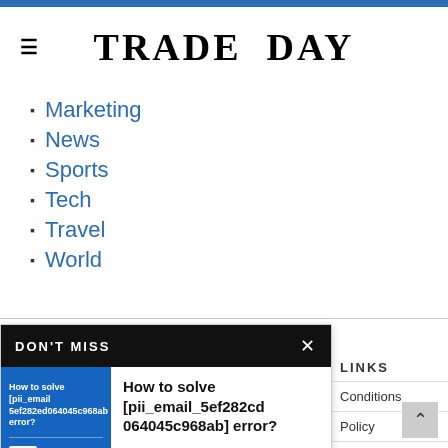TRADE DAY
Marketing
News
Sports
Tech
Travel
World
DON'T MISS
[Figure (screenshot): Thumbnail image showing 'How to solve [pii_email_5ef282ed064045c968ab] error?' with Outlook logo on blue background]
How to solve [pii_email_5ef282cd064045c968ab] error?
Communication and staying connected to the world around
LINKS
Conditions
Policy
Disclaimer
Contact
Travel, Tech, health , discussions and more.